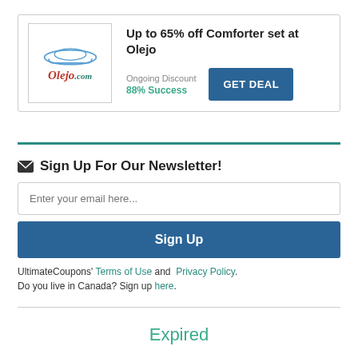[Figure (infographic): Olejo.com deal card with logo, title 'Up to 65% off Comforter set at Olejo', Ongoing Discount label, 88% Success rate, and GET DEAL button]
✉ Sign Up For Our Newsletter!
Enter your email here...
Sign Up
UltimateCoupons' Terms of Use and Privacy Policy.
Do you live in Canada? Sign up here.
Expired